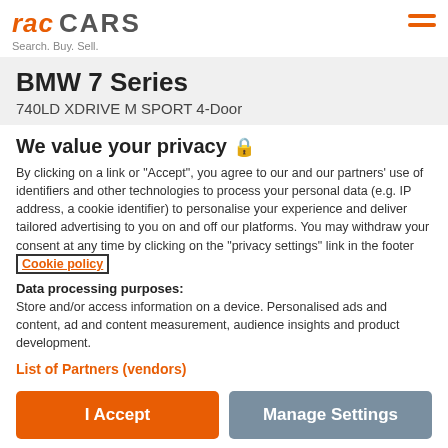RAC CARS — Search. Buy. Sell.
BMW 7 Series
740LD XDRIVE M SPORT 4-Door
We value your privacy 🔒
By clicking on a link or "Accept", you agree to our and our partners' use of identifiers and other technologies to process your personal data (e.g. IP address, a cookie identifier) to personalise your experience and deliver tailored advertising to you on and off our platforms. You may withdraw your consent at any time by clicking on the "privacy settings" link in the footer Cookie policy
Data processing purposes: Store and/or access information on a device. Personalised ads and content, ad and content measurement, audience insights and product development.
List of Partners (vendors)
I Accept
Manage Settings